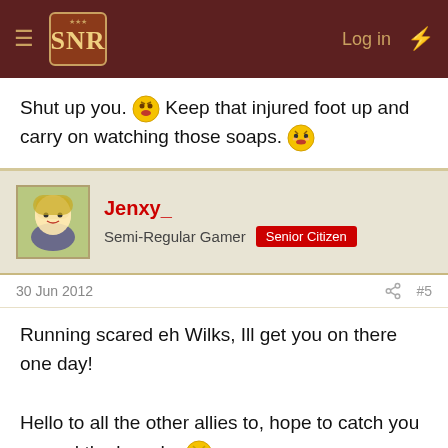SNR — Log in
Shut up you. 😛 Keep that injured foot up and carry on watching those soaps. 😎
Jenxy_
Semi-Regular Gamer  Senior Citizen
30 Jun 2012  #5
Running scared eh Wilks, Ill get you on there one day!

Hello to all the other allies to, hope to catch you around the boards 😊
This site uses cookies to help personalise content, tailor your experience and to keep you logged in if you register.
By continuing to use this site, you are consenting to our use of cookies.
Accept  Learn more...